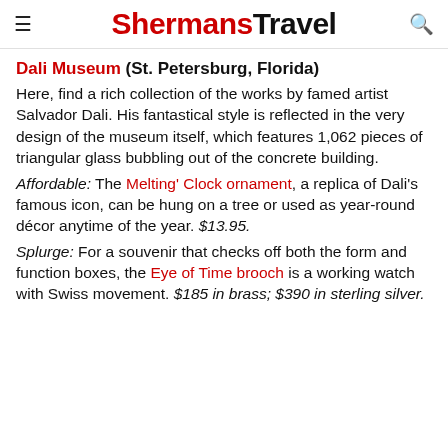ShermansTravel
Dali Museum (St. Petersburg, Florida)
Here, find a rich collection of the works by famed artist Salvador Dali. His fantastical style is reflected in the very design of the museum itself, which features 1,062 pieces of triangular glass bubbling out of the concrete building.
Affordable: The Melting' Clock ornament, a replica of Dali's famous icon, can be hung on a tree or used as year-round décor anytime of the year. $13.95.
Splurge: For a souvenir that checks off both the form and function boxes, the Eye of Time brooch is a working watch with Swiss movement. $185 in brass; $390 in sterling silver.